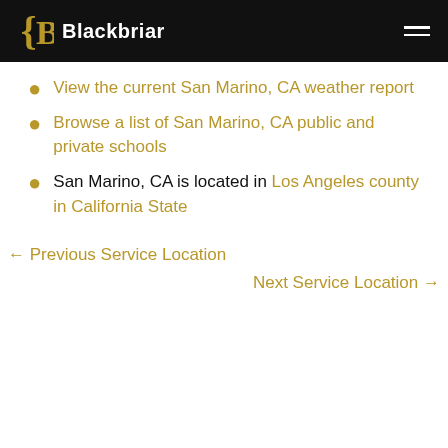Blackbriar
View the current San Marino, CA weather report
Browse a list of San Marino, CA public and private schools
San Marino, CA is located in Los Angeles county in California State
← Previous Service Location
Next Service Location →